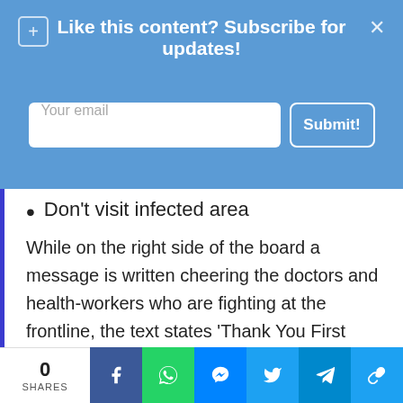[Figure (screenshot): Blue subscription banner with 'Like this content? Subscribe for updates!' heading, email input field, and Submit button]
Don't visit infected area
While on the right side of the board a message is written cheering the doctors and health-workers who are fighting at the frontline, the text states 'Thank You First Responders, Our Heroes'. The billboard also invites people to inquire about Islam and Prophet Muhammad ﷺ. This billboard is a
0 SHARES | Facebook | WhatsApp | Messenger | Twitter | Telegram | Link